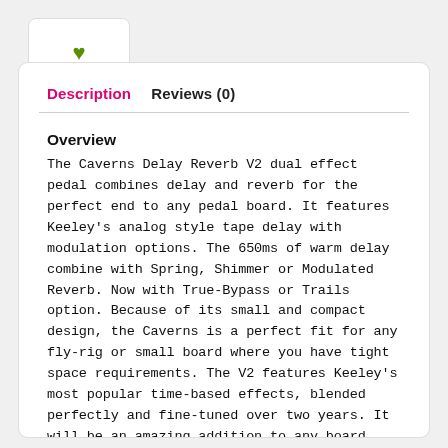[Figure (illustration): Small white card with a green heart icon in the center]
Description   Reviews (0)
Overview
The Caverns Delay Reverb V2 dual effect pedal combines delay and reverb for the perfect end to any pedal board. It features Keeley's analog style tape delay with modulation options. The 650ms of warm delay combine with Spring, Shimmer or Modulated Reverb. Now with True-Bypass or Trails option. Because of its small and compact design, the Caverns is a perfect fit for any fly-rig or small board where you have tight space requirements. The V2 features Keeley's most popular time-based effects, blended perfectly and fine-tuned over two years. It will be an amazing addition to any board.